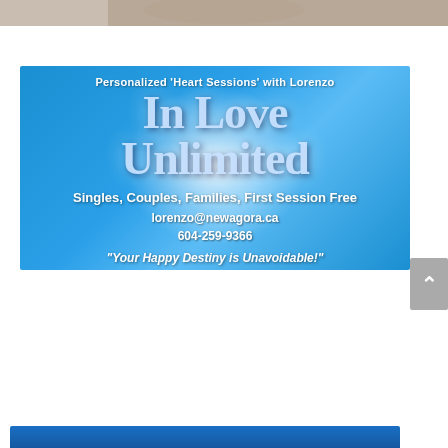[Figure (photo): Top portion of a photograph, partially visible at the very top of the page]
[Figure (infographic): Advertisement for 'In Love Unlimited' - Personalized Heart Sessions with Lorenzo. Blue background with radial light glow. Text: 'Personalized Heart Sessions with Lorenzo', 'In Love Unlimited', 'Singles, Couples, Families, First Session Free', 'lorenzo@newagora.ca', '604-259-9366', 'Your Happy Destiny is Unavoidable!']
[Figure (logo): Advertisement for 'Autodidactic - Self-Education is the Way Forward'. Black border with orange background. Brain icon on the left, italic bold text 'Autodidactic', black bar beneath with white text 'Self-Education is the Way Forward']
[Figure (other): Partial blue banner visible at the very bottom of the page]